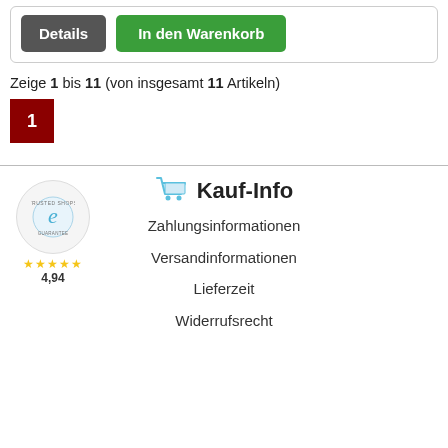[Figure (screenshot): Two buttons: 'Details' (gray) and 'In den Warenkorb' (green), inside a rounded border box]
Zeige 1 bis 11 (von insgesamt 11 Artikeln)
1
Kauf-Info
Zahlungsinformationen
Versandinformationen
Lieferzeit
Widerrufsrecht
[Figure (logo): Trusted Shops badge with 'e' logo, 4 and a half stars, rating 4,94]